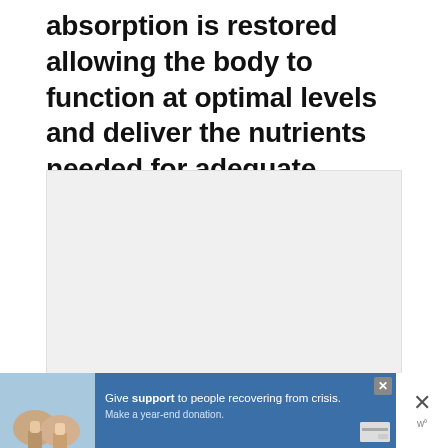absorption is restored allowing the body to function at optimal levels and deliver the nutrients needed for adequate muscle repair and recovery.
[Figure (photo): Large light gray placeholder image area with slide navigation dots at the bottom]
[Figure (infographic): Advertisement banner at bottom: shows two people holding hands on left, blue background with text 'Give support to people recovering from crisis. Make a year-end donation.' with credit card icon, close button X, and website logo on right]